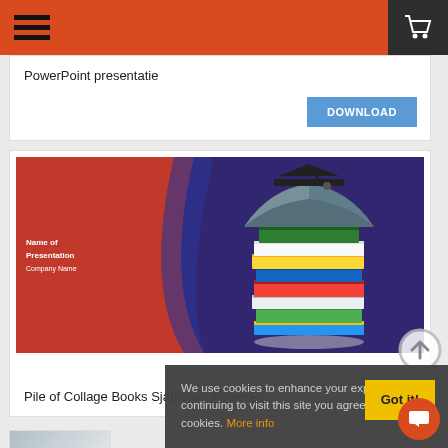Header bar with hamburger menu and shopping cart
PowerPoint presentatie
DOWNLOAD
[Figure (screenshot): PowerPoint presentation thumbnail showing a stack of colorful college books with graduation cap on top, red background with blue curve design, text: Name of Presentation, Company Name]
Pile of Collage Books Sjablonen PowerPoint
[Figure (screenshot): Partial thumbnail of another presentation at the bottom]
We use cookies to enhance your experience. By continuing to visit this site you agree to our use of cookies. More info
Got it!